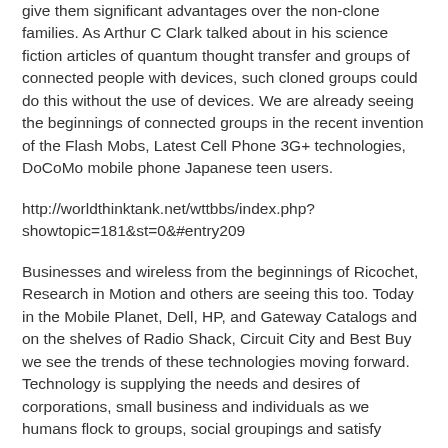give them significant advantages over the non-clone families. As Arthur C Clark talked about in his science fiction articles of quantum thought transfer and groups of connected people with devices, such cloned groups could do this without the use of devices. We are already seeing the beginnings of connected groups in the recent invention of the Flash Mobs, Latest Cell Phone 3G+ technologies, DoCoMo mobile phone Japanese teen users.
http://worldthinktank.net/wttbbs/index.php?showtopic=181&st=0&#entry209
Businesses and wireless from the beginnings of Ricochet, Research in Motion and others are seeing this too. Today in the Mobile Planet, Dell, HP, and Gateway Catalogs and on the shelves of Radio Shack, Circuit City and Best Buy we see the trends of these technologies moving forward. Technology is supplying the needs and desires of corporations, small business and individuals as we humans flock to groups, social groupings and satisfy